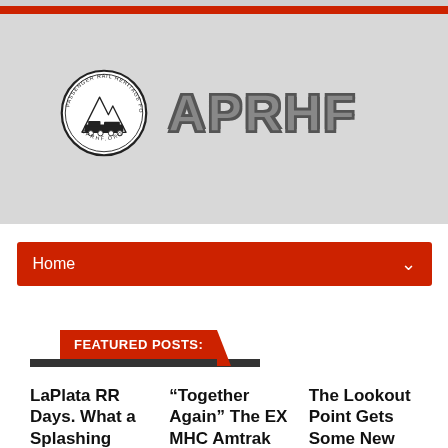[Figure (logo): APRHF - American Passenger Rail Heritage Foundation circular logo with mountain and train imagery, alongside large bold text 'APRHF']
Home
FEATURED POSTS:
LaPlata RR Days. What a Splashing Good Time It Was.
“Together Again” The EX MHC Amtrak Cars are in
The Lookout Point Gets Some New Features